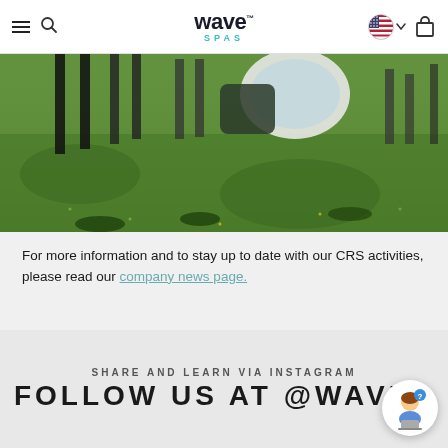Wave Spas — navigation header with hamburger menu, search, logo, flag selector, cart
[Figure (photo): Outdoor photo showing people standing on green grass with inflatable hot tubs / spas visible in the background, taken in bright sunlight casting shadows on the grass.]
For more information and to stay up to date with our CRS activities, please read our company news page.
SHARE AND LEARN VIA INSTAGRAM
FOLLOW US AT @WAVES